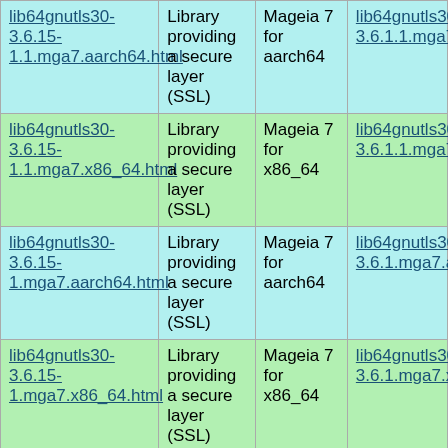| lib64gnutls30-3.6.15-1.1.mga7.aarch64.html | Library providing a secure layer (SSL) | Mageia 7 for aarch64 | lib64gnutls30-3.6.1.1.mga7.aarch64. |
| lib64gnutls30-3.6.15-1.1.mga7.x86_64.html | Library providing a secure layer (SSL) | Mageia 7 for x86_64 | lib64gnutls30-3.6.1.1.mga7.x86_64.r |
| lib64gnutls30-3.6.15-1.mga7.aarch64.html | Library providing a secure layer (SSL) | Mageia 7 for aarch64 | lib64gnutls30-3.6.1.mga7.aarch64.rp |
| lib64gnutls30-3.6.15-1.mga7.x86_64.html | Library providing a secure layer (SSL) | Mageia 7 for x86_64 | lib64gnutls30-3.6.1.mga7.x86_64.rp |
| lib64gnutls30-3.6.14-1.mga7.aarch64.html | Library providing a secure layer | Mageia 7 for aarch64 | lib64gnutls30-3.6.1.mga7.aarch64.rp |